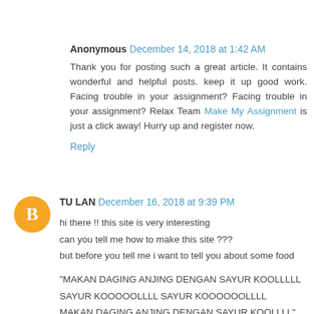Anonymous December 14, 2018 at 1:42 AM
Thank you for posting such a great article. It contains wonderful and helpful posts. keep it up good work. Facing trouble in your assignment? Facing trouble in your assignment? Relax Team Make My Assignment is just a click away! Hurry up and register now.
Reply
TU LAN December 16, 2018 at 9:39 PM
hi there !! this site is very interesting
can you tell me how to make this site ???
but before you tell me i want to tell you about some food

"MAKAN DAGING ANJING DENGAN SAYUR KOOLLLLL SAYUR KOOOOOLLLL SAYUR KOOOOOOLLLL MAKAN DAGING ANJING DENGAN SAYUR KOOLLLL"